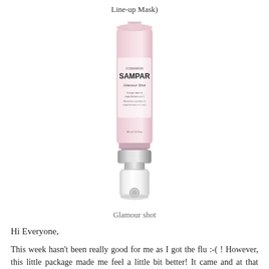Line-up Mask)
[Figure (photo): A SAMPAR Glamour Shot skincare product tube in light pink with a silver pump dispenser at the bottom. The label reads SAMPAR Glamour Shot.]
Glamour shot
Hi Everyone,
This week hasn't been really good for me as I got the flu :-( ! However, this little package made me feel a little bit better! It came and at that moment there was something really dull looking from the